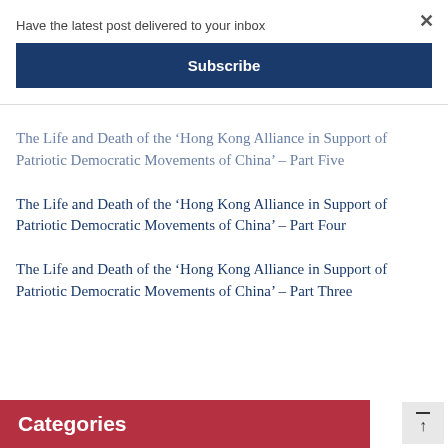Have the latest post delivered to your inbox
Subscribe
The Life and Death of the ‘Hong Kong Alliance in Support of Patriotic Democratic Movements of China’ – Part Five
The Life and Death of the ‘Hong Kong Alliance in Support of Patriotic Democratic Movements of China’ – Part Four
The Life and Death of the ‘Hong Kong Alliance in Support of Patriotic Democratic Movements of China’ – Part Three
Categories